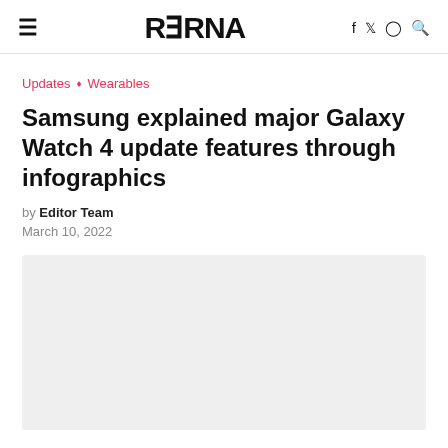≡  RRRNA  f  ♦  ○  🔍
Updates ◇ Wearables
Samsung explained major Galaxy Watch 4 update features through infographics
by Editor Team
March 10, 2022
[Figure (photo): Light gray placeholder image block]